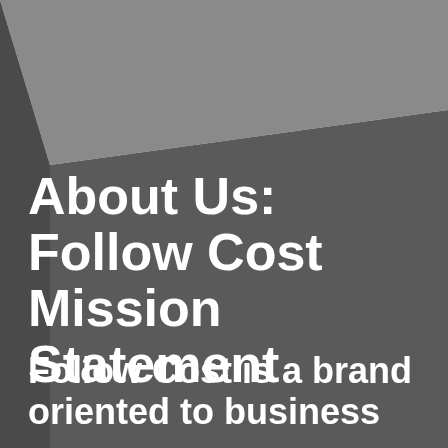[Figure (illustration): Dark gray three-dimensional box shape with perspective, forming the background of the page. The box face occupies most of the page area with a lighter gray angled top surface visible at the top.]
About Us: Follow Cost Mission Statement
Follow Cost is a brand oriented to business